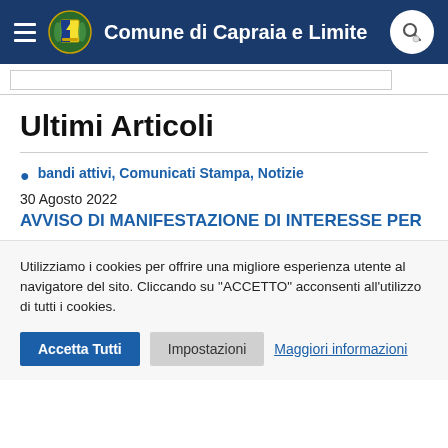Comune di Capraia e Limite
Ultimi Articoli
bandi attivi, Comunicati Stampa, Notizie
30 Agosto 2022
AVVISO DI MANIFESTAZIONE DI INTERESSE PER
Utilizziamo i cookies per offrire una migliore esperienza utente al navigatore del sito. Cliccando su "ACCETTO" acconsenti all'utilizzo di tutti i cookies.
Accetta Tutti | Impostazioni | Maggiori informazioni